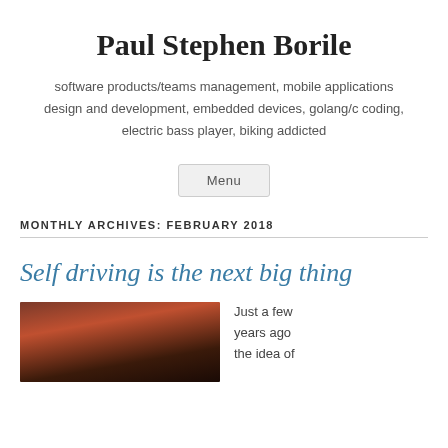Paul Stephen Borile
software products/teams management, mobile applications design and development, embedded devices, golang/c coding, electric bass player, biking addicted
Menu
MONTHLY ARCHIVES: FEBRUARY 2018
Self driving is the next big thing
[Figure (photo): Dark sunset/dusk sky photo with silhouette of trees at bottom]
Just a few years ago the idea of